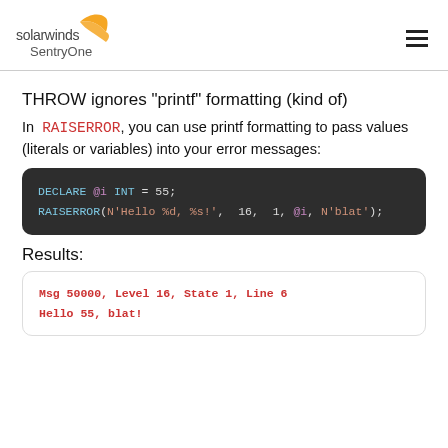[Figure (logo): SolarWinds SentryOne logo with orange wing icon]
THROW ignores "printf" formatting (kind of)
In RAISERROR, you can use printf formatting to pass values (literals or variables) into your error messages:
[Figure (screenshot): Code block: DECLARE @i INT = 55; RAISERROR(N'Hello %d, %s!', 16, 1, @i, N'blat');]
Results:
[Figure (screenshot): Result block: Msg 50000, Level 16, State 1, Line 6
Hello 55, blat!]